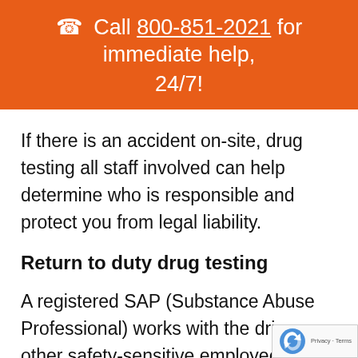📞 Call 800-851-2021 for immediate help, 24/7!
If there is an accident on-site, drug testing all staff involved can help determine who is responsible and protect you from legal liability.
Return to duty drug testing
A registered SAP (Substance Abuse Professional) works with the driver, other safety-sensitive employees, w...